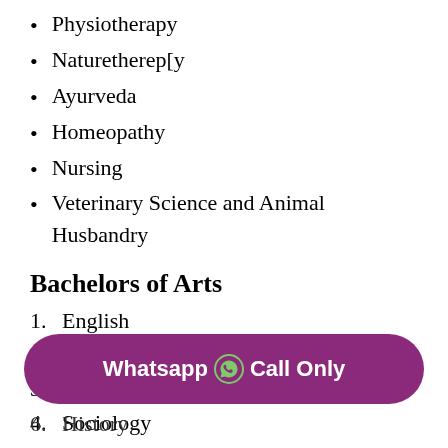Physiotherapy
Naturetherep[y
Ayurveda
Homeopathy
Nursing
Veterinary Science and Animal Husbandry
Bachelors of Arts
1. English
2. Economics
3. Social Works
4. Sociology
6. History